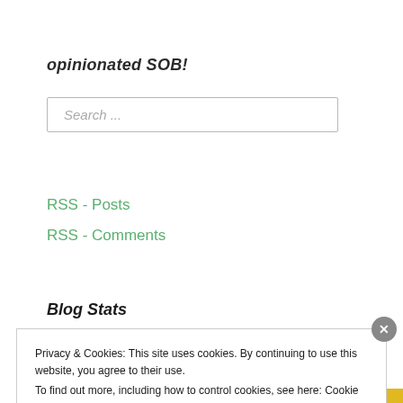opinionated SOB!
Search ...
RSS - Posts
RSS - Comments
Blog Stats
Privacy & Cookies: This site uses cookies. By continuing to use this website, you agree to their use.
To find out more, including how to control cookies, see here: Cookie Policy
Close and accept